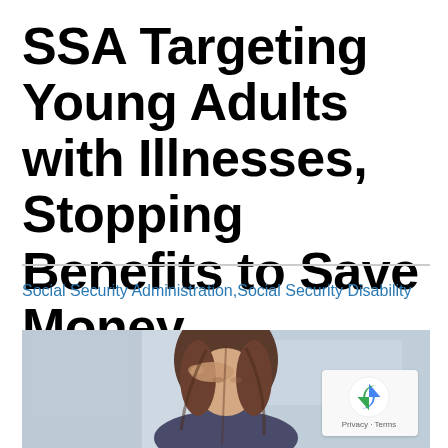SSA Targeting Young Adults with Illnesses, Stopping Benefits to Save Money
Social Security Administration,Social Security Disability
[Figure (photo): A woman with long brown hair leaning forward with her hand on her forehead, appearing stressed or in distress, in a blurred office or room setting with light blue-grey tones. A reCAPTCHA privacy badge is overlaid in the bottom right corner.]